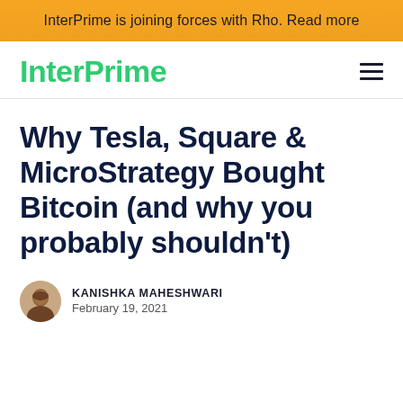InterPrime is joining forces with Rho. Read more
InterPrime
Why Tesla, Square & MicroStrategy Bought Bitcoin (and why you probably shouldn't)
KANISHKA MAHESHWARI
February 19, 2021